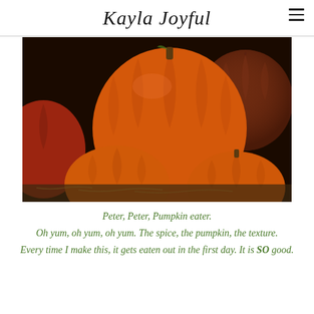Kayla Joyful
[Figure (photo): A group of large orange pumpkins piled together, with deep ridges and warm autumn tones, set against a dark background.]
Peter, Peter, Pumpkin eater.
Oh yum, oh yum, oh yum. The spice, the pumpkin, the texture.
Every time I make this, it gets eaten out in the first day. It is SO good.